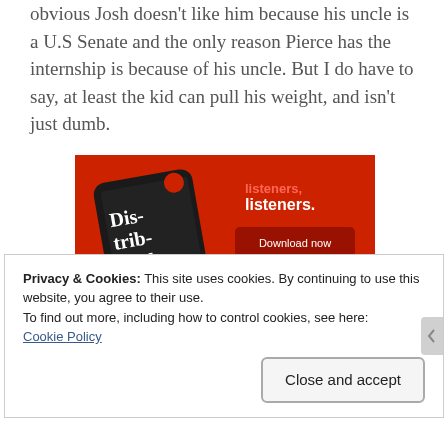obvious Josh doesn't like him because his uncle is a U.S Senate and the only reason Pierce has the internship is because of his uncle. But I do have to say, at least the kid can pull his weight, and isn't just dumb.
[Figure (screenshot): Advertisement image showing a smartphone with a podcast app (Dis-trib-uted) on a red background with text 'listeners.' and a 'Download now' button.]
Privacy & Cookies: This site uses cookies. By continuing to use this website, you agree to their use.
To find out more, including how to control cookies, see here:
Cookie Policy
Close and accept